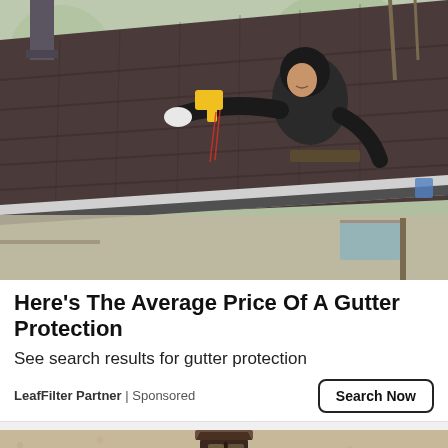[Figure (photo): A worker in a black hoodie and tool belt standing on a ladder, working on a gutter on a roof with dark shingles. He holds a yellow power tool. Trees and a brick house are visible in the background.]
Here's The Average Price Of A Gutter Protection
See search results for gutter protection
LeafFilter Partner | Sponsored
[Figure (photo): Partial photo of a vintage or rustic outdoor wall lantern mounted on a stucco or textured stone wall.]